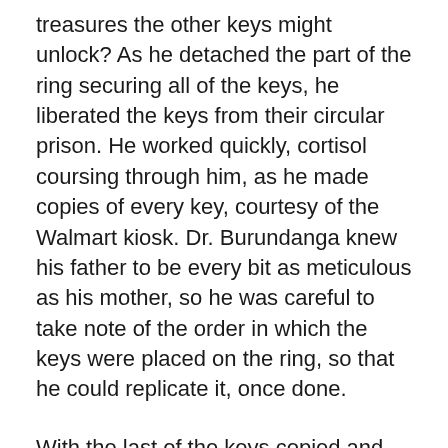treasures the other keys might unlock? As he detached the part of the ring securing all of the keys, he liberated the keys from their circular prison. He worked quickly, cortisol coursing through him, as he made copies of every key, courtesy of the Walmart kiosk. Dr. Burundanga knew his father to be every bit as meticulous as his mother, so he was careful to take note of the order in which the keys were placed on the ring, so that he could replicate it, once done.
With the last of the keys copied and the originals secured back in place, Burundanga raced back to his parents' home and stealthily re-entered the house. His father remained seated on the couch, deeply slumbering, as Wheel of Fortune played in the background. Burundanga slipped the keys back into his father's pocket and silently congratulated himself on a job well done. He slunk down the hall to his parents' bedroom to check in on his mother, before closing her bedroom door and entering his father's